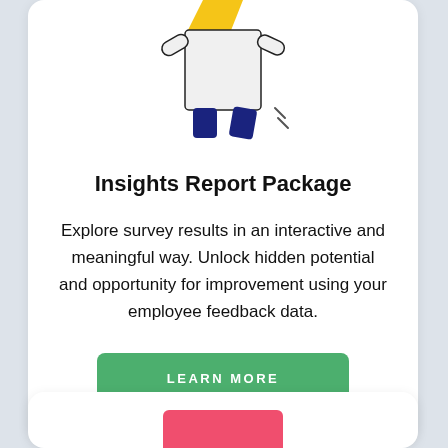[Figure (illustration): Partial illustration of a person figure with yellow hat/hair element and dark navy blue shoes/boots, white body, shown from roughly waist down, centered at top of card]
Insights Report Package
Explore survey results in an interactive and meaningful way. Unlock hidden potential and opportunity for improvement using your employee feedback data.
LEARN MORE
[Figure (illustration): Bottom portion of a second card visible, showing a partial pink/red rectangular element at the bottom edge of the page]